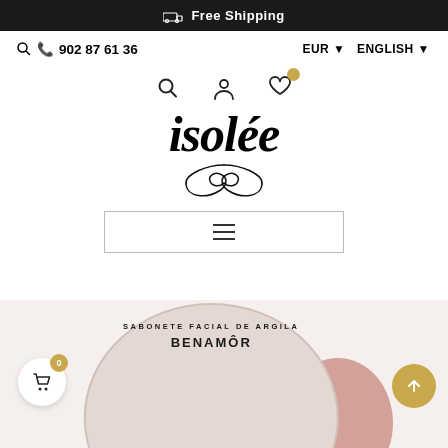Free Shipping
902 87 61 36
EUR ▾  ENGLISH ▾
[Figure (screenshot): E-commerce website header for isolée beauty store showing logo, navigation icons (search, account, wishlist), phone number, currency and language selectors, hamburger menu, and partial product image of Benamôr Sabonete Facial de Argila at bottom]
isolée
SABONETE FACIAL DE ARGILA  BENAMÔR